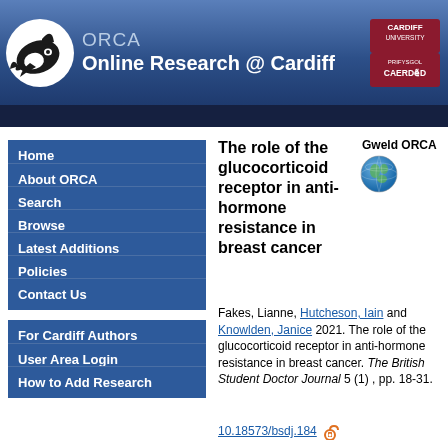ORCA Online Research @ Cardiff
Home
About ORCA
Search
Browse
Latest Additions
Policies
Contact Us
For Cardiff Authors
User Area Login
How to Add Research
The role of the glucocorticoid receptor in anti-hormone resistance in breast cancer
Gweld ORCA
Fakes, Lianne, Hutcheson, Iain and Knowlden, Janice 2021. The role of the glucocorticoid receptor in anti-hormone resistance in breast cancer. The British Student Doctor Journal 5 (1) , pp. 18-31.
10.18573/bsdj.184